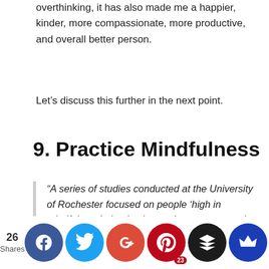overthinking, it has also made me a happier, kinder, more compassionate, more productive, and overall better person.
Let’s discuss this further in the next point.
9. Practice Mindfulness
“A series of studies conducted at the University of Rochester focused on people ‘high in mindfulness’, that is, those who are prone to be mindfully attentive here and and deeply aware of their surroundings,
[Figure (other): Social share bar with icons for Facebook, Twitter, Google+, Pinterest, Layers, and Crown. Shows 26 Shares count. Pinterest shows badge of 23.]